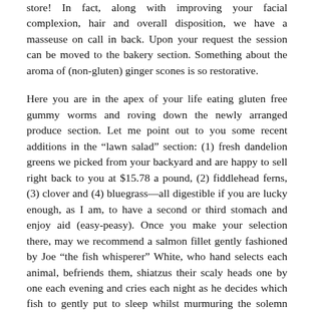store! In fact, along with improving your facial complexion, hair and overall disposition, we have a masseuse on call in back. Upon your request the session can be moved to the bakery section. Something about the aroma of (non-gluten) ginger scones is so restorative.
Here you are in the apex of your life eating gluten free gummy worms and roving down the newly arranged produce section. Let me point out to you some recent additions in the "lawn salad" section: (1) fresh dandelion greens we picked from your backyard and are happy to sell right back to you at $15.78 a pound, (2) fiddlehead ferns, (3) clover and (4) bluegrass—all digestible if you are lucky enough, as I am, to have a second or third stomach and enjoy aid (easy-peasy). Once you make your selection there, may we recommend a salmon fillet gently fashioned by Joe "the fish whisperer" White, who hand selects each animal, befriends them, shiatzus their scaly heads one by one each evening and cries each night as he decides which fish to gently put to sleep whilst murmuring the solemn prayers of the Apache peoples. Or perhaps you are in the mood for red meat. May I suggest our humane retirement fund whereby you